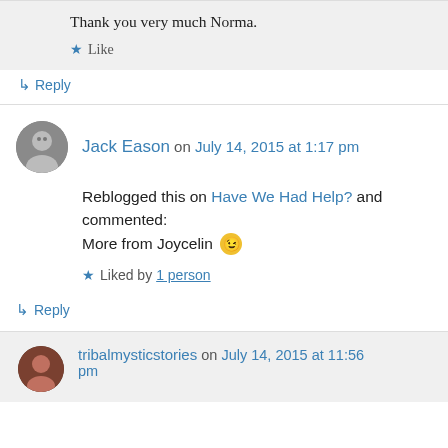Thank you very much Norma.
Like
↳ Reply
Jack Eason on July 14, 2015 at 1:17 pm
Reblogged this on Have We Had Help? and commented:
More from Joycelin 😉
Liked by 1 person
↳ Reply
tribalmysticstories on July 14, 2015 at 11:56 pm